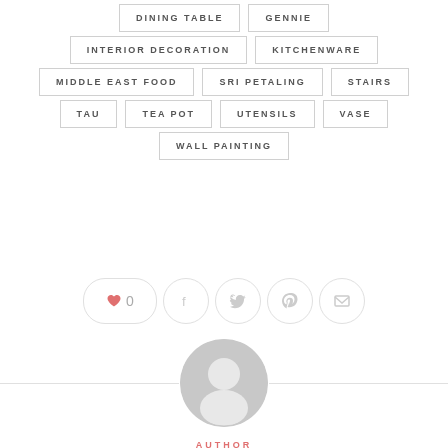DINING TABLE
GENNIE
INTERIOR DECORATION
KITCHENWARE
MIDDLE EAST FOOD
SRI PETALING
STAIRS
TAU
TEA POT
UTENSILS
VASE
WALL PAINTING
[Figure (infographic): Social sharing buttons: heart/like with count 0, Facebook, Twitter, Pinterest, Email]
[Figure (illustration): Generic user avatar circle icon in light gray]
AUTHOR
TAUFULOU